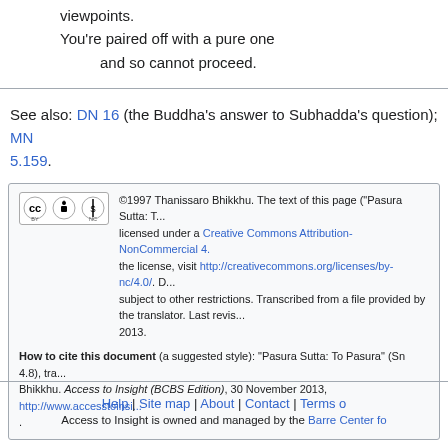viewpoints.
You're paired off with a pure one
and so cannot proceed.
See also: DN 16 (the Buddha's answer to Subhadda's question); MN 5.159.
©1997 Thanissaro Bhikkhu. The text of this page ("Pasura Sutta: T... licensed under a Creative Commons Attribution-NonCommercial 4... the license, visit http://creativecommons.org/licenses/by-nc/4.0/. D... subject to other restrictions. Transcribed from a file provided by the translator. Last revis... 2013.
How to cite this document (a suggested style): "Pasura Sutta: To Pasura" (Sn 4.8), tra... Bhikkhu. Access to Insight (BCBS Edition), 30 November 2013, http://www.accesstoinsi...
Help | Site map | About | Contact | Terms o...
Access to Insight is owned and managed by the Barre Center fo...